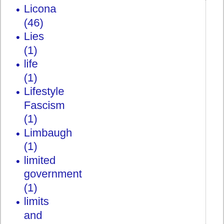Licona (46)
Lies (1)
life (1)
Lifestyle Fascism (1)
Limbaugh (1)
limited government (1)
limits and borders (1)
Lincoln (5)
Lippmann (1)
Lisa Miller case